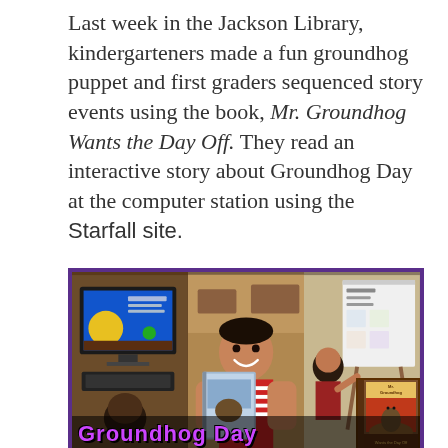Last week in the Jackson Library, kindergarteners made a fun groundhog puppet and first graders sequenced story events using the book, Mr. Groundhog Wants the Day Off. They read an interactive story about Groundhog Day at the computer station using the Starfall site.
[Figure (photo): Photo collage showing three panels: left panel shows a student at a computer with Groundhog Day interactive story on screen, center panel shows a smiling student holding a book about groundhogs, right panel shows a student working at a whiteboard. Text overlay reads 'Groundhog Day' in purple letters. A book 'Mr. Groundhog' is visible in the bottom right corner.]